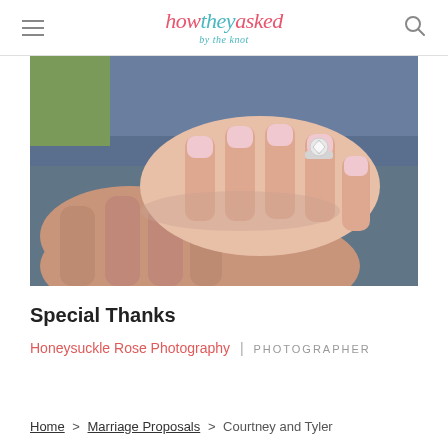how they asked by the knot
[Figure (photo): Close-up photo of two hands together, a woman's hand with light pink nails resting on a man's hand/arm in blue denim, with a diamond engagement ring on her ring finger.]
Special Thanks
Honeysuckle Rose Photography | PHOTOGRAPHER
Home > Marriage Proposals > Courtney and Tyler